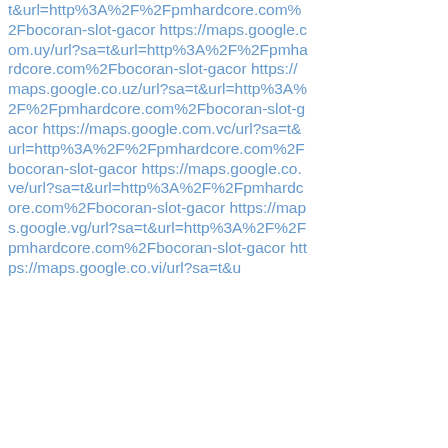t&url=http%3A%2F%2Fpmhardcore.com%2Fbocoran-slot-gacor https://maps.google.com.uy/url?sa=t&url=http%3A%2F%2Fpmhardcore.com%2Fbocoran-slot-gacor https://maps.google.co.uz/url?sa=t&url=http%3A%2F%2Fpmhardcore.com%2Fbocoran-slot-gacor https://maps.google.com.vc/url?sa=t&url=http%3A%2F%2Fpmhardcore.com%2Fbocoran-slot-gacor https://maps.google.co.ve/url?sa=t&url=http%3A%2F%2Fpmhardcore.com%2Fbocoran-slot-gacor https://maps.google.vg/url?sa=t&url=http%3A%2F%2Fpmhardcore.com%2Fbocoran-slot-gacor https://maps.google.co.vi/url?sa=t&u